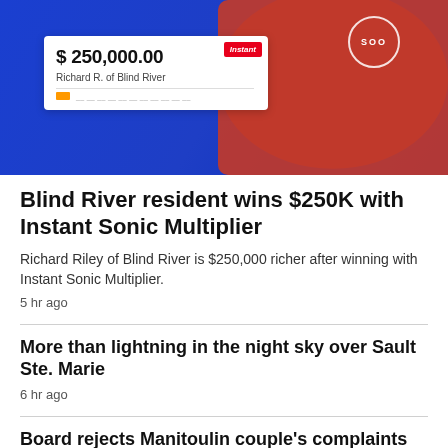[Figure (photo): Man in red SOO sweatshirt holding a large cheque for $250,000.00 from Instant lottery, made out to Richard R. of Blind River, against a blue background.]
Blind River resident wins $250K with Instant Sonic Multiplier
Richard Riley of Blind River is $250,000 richer after winning with Instant Sonic Multiplier.
5 hr ago
More than lightning in the night sky over Sault Ste. Marie
6 hr ago
Board rejects Manitoulin couple's complaints about manure, flies from neighbour's farm